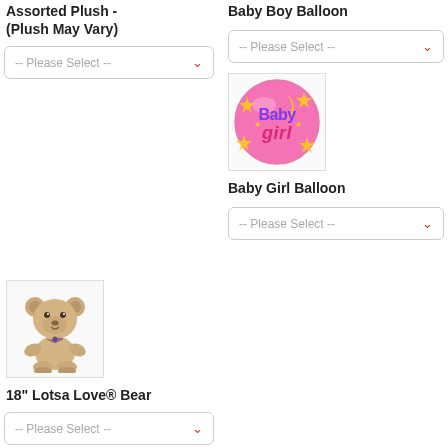Assorted Plush - (Plush May Vary)
-- Please Select --
Baby Boy Balloon
-- Please Select --
[Figure (photo): Baby Girl Balloon - round pink balloon with 'Baby girl' text, stars and moon decorations]
Baby Girl Balloon
-- Please Select --
[Figure (photo): 18" Lotsa Love Bear - tan/beige teddy bear with bow]
18" Lotsa Love® Bear
-- Please Select --